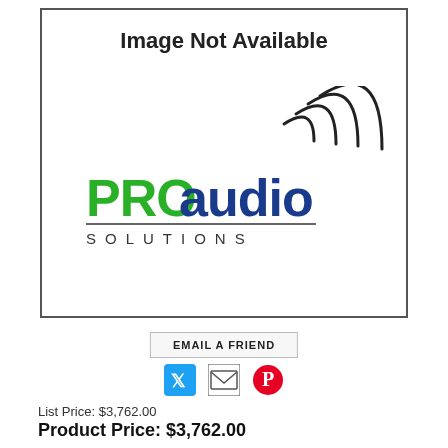[Figure (logo): Image Not Available placeholder with PRO audio Solutions logo and sound wave graphic]
EMAIL A FRIEND
[Figure (infographic): Social share icons: Twitter (blue bird), email envelope, Pinterest (red circle P)]
List Price: $3,762.00
Product Price: $3,762.00